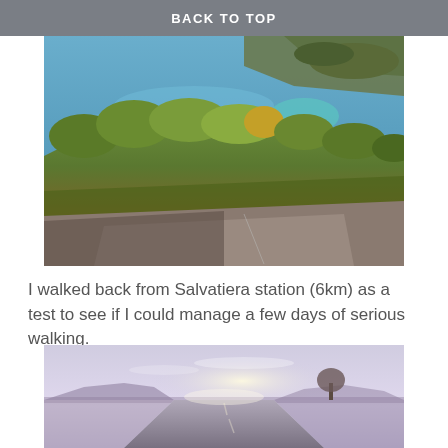BACK TO TOP
[Figure (photo): Aerial view of a coastal landscape with blue sea, rocky headland, green and yellow trees, and a road in the foreground with shadows]
I walked back from Salvatiera station (6km) as a test to see if I could manage a few days of serious walking.
[Figure (photo): A straight rural road stretching into the distance with hills and trees on either side under a bright hazy sky]